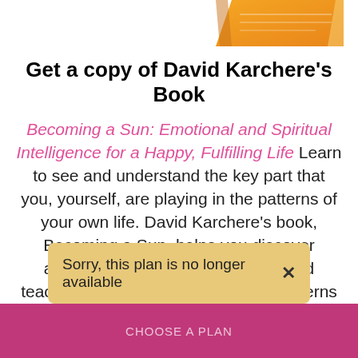[Figure (illustration): Partial view of a book cover at the top of the page, showing the upper-right corner of an orange/yellow book.]
Get a copy of David Karchere's Book
Becoming a Sun: Emotional and Spiritual Intelligence for a Happy, Fulfilling Life Learn to see and understand the key part that you, yourself, are playing in the patterns of your own life. David Karchere’s book, Becoming a Sun, helps you discover awareness of your own patterns and teaches you how to redirect those patterns into positive, love-giving journeys.
Sorry, this plan is no longer available ×
CHOOSE A PLAN